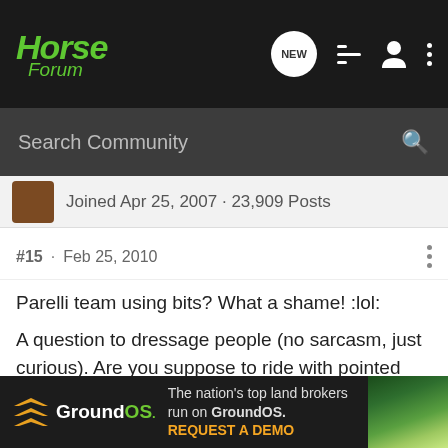Horse Forum
Search Community
Joined Apr 25, 2007 · 23,909 Posts
#15 · Feb 25, 2010
Parelli team using bits? What a shame! :lol:
A question to dressage people (no sarcasm, just curious). Are you suppose to ride with pointed out toes in dressage kicking horse non-stop? I always thought the legs should be quiet for the most time unless you give a cue, but I took couple lessons from dressage (hm-hm) trainer, and she was keep saying I have to kick horse non-stop in dressage. I stopped taking lessons with her for number of reasons (kicking was one of them plus some other)
[Figure (screenshot): GroundOS advertisement banner: The nation's top land brokers run on GroundOS. REQUEST A DEMO]